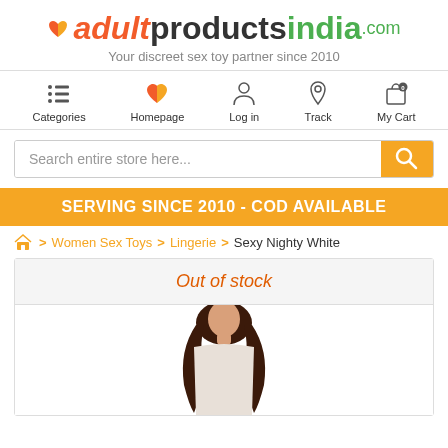[Figure (logo): adultproductsindia.com logo with heart icon and tagline 'Your discreet sex toy partner since 2010']
[Figure (infographic): Navigation bar with icons: Categories (hamburger), Homepage (heart), Log in (person), Track (pin), My Cart (bag with 0 badge)]
[Figure (screenshot): Search bar with placeholder 'Search entire store here...' and orange search button]
SERVING SINCE 2010 - COD AVAILABLE
Women Sex Toys > Lingerie > Sexy Nighty White
Out of stock
[Figure (photo): Woman with long dark hair wearing white lingerie, product photo cropped at top of frame]